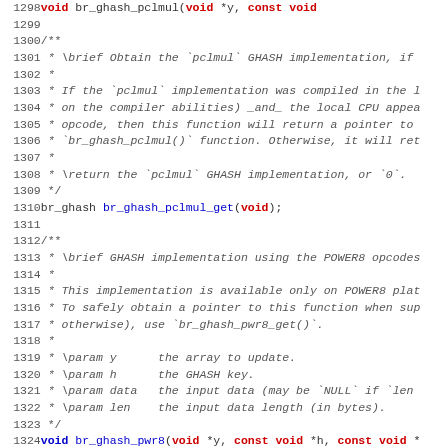[Figure (screenshot): Source code listing showing C API documentation comments and function declarations for br_ghash_pclmul_get, br_ghash_pwr8, and br_ghash_pwr8_get functions, with line numbers 1298-1330.]